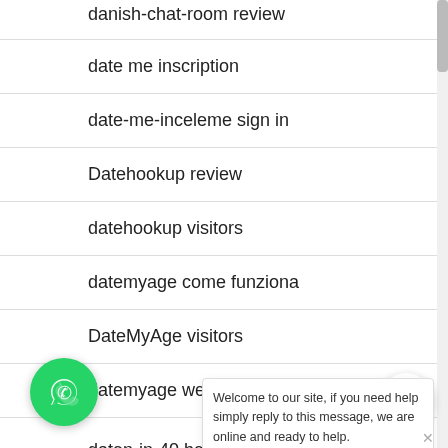danish-chat-room review
date me inscription
date-me-inceleme sign in
Datehookup review
datehookup visitors
datemyage come funziona
DateMyAge visitors
datemyage web
daten-in-40 beoordelingen
...ing
Welcome to our site, if you need help simply reply to this message, we are online and ready to help.
Write a